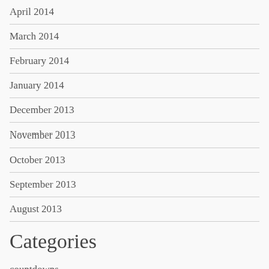April 2014
March 2014
February 2014
January 2014
December 2013
November 2013
October 2013
September 2013
August 2013
Categories
countdowns
Fashion